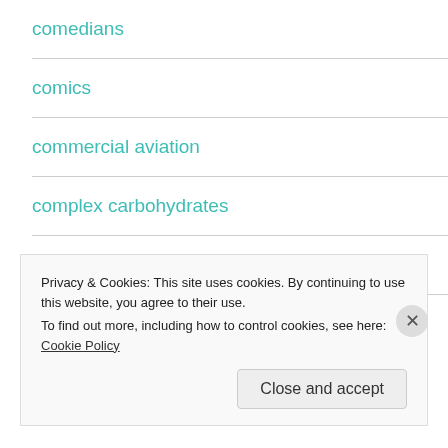comedians
comics
commercial aviation
complex carbohydrates
computers
couples counseling
Privacy & Cookies: This site uses cookies. By continuing to use this website, you agree to their use.
To find out more, including how to control cookies, see here: Cookie Policy
Close and accept